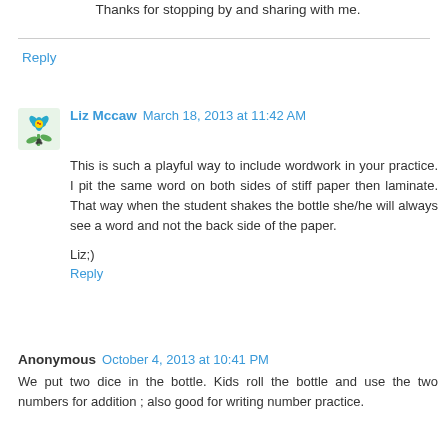Thanks for stopping by and sharing with me.
Reply
Liz Mccaw  March 18, 2013 at 11:42 AM
This is such a playful way to include wordwork in your practice. I pit the same word on both sides of stiff paper then laminate. That way when the student shakes the bottle she/he will always see a word and not the back side of the paper.

Liz;)
Reply
Anonymous  October 4, 2013 at 10:41 PM
We put two dice in the bottle. Kids roll the bottle and use the two numbers for addition ; also good for writing number practice.